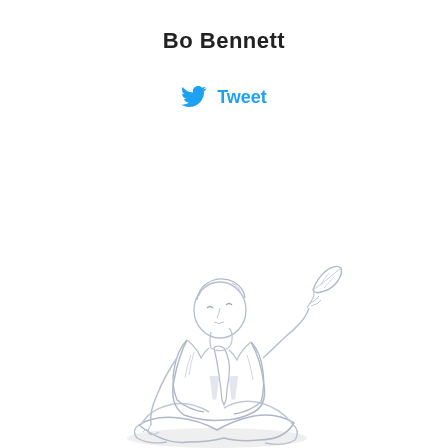Bo Bennett
Tweet
[Figure (illustration): Line drawing/sketch of a person sitting cross-legged in a meditative pose, wearing a suit jacket, holding a small leaf or plant in one raised hand. The illustration is lightly sketched in gray/light blue tones on white background.]